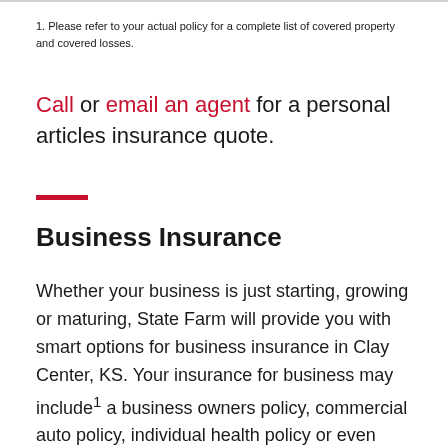1. Please refer to your actual policy for a complete list of covered property and covered losses.
Call or email an agent for a personal articles insurance quote.
Business Insurance
Whether your business is just starting, growing or maturing, State Farm will provide you with smart options for business insurance in Clay Center, KS. Your insurance for business may include¹ a business owners policy, commercial auto policy, individual health policy or even workers’ compensation. Like you, our agents are small business owners who know the importance of developing a plan for continued financial security. We